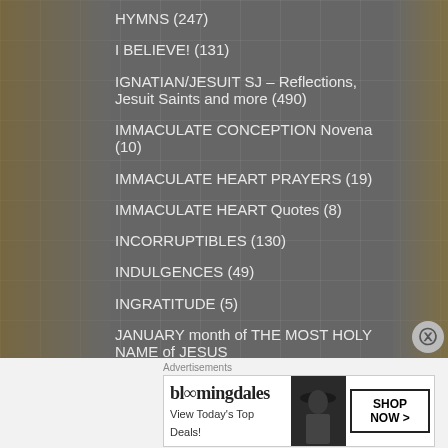HYMNS (247)
I BELIEVE! (131)
IGNATIAN/JESUIT SJ – Reflections, Jesuit Saints and more (490)
IMMACULATE CONCEPTION Novena (10)
IMMACULATE HEART PRAYERS (19)
IMMACULATE HEART Quotes (8)
INCORRUPTIBLES (130)
INDULGENCES (49)
INGRATITUDE (5)
JANUARY month of THE MOST HOLY NAME of JESUS
Advertisements
[Figure (screenshot): Bloomingdales advertisement banner: bloomingdales logo, 'View Today's Top Deals!' text, photo of woman with hat, 'SHOP NOW >' button]